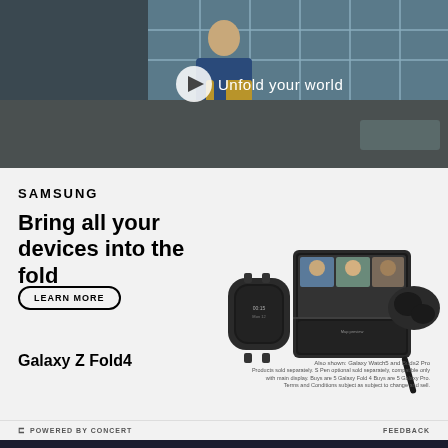[Figure (screenshot): Video thumbnail showing a young man walking in a cafeteria setting with text 'Unfold your world' and a play button overlay]
[Figure (screenshot): Samsung advertisement for Galaxy Z Fold4 showing the text 'SAMSUNG', headline 'Bring all your devices into the fold', a 'LEARN MORE' button, product images of smartwatch, foldable phone, and earbuds, and footer text 'Galaxy Z Fold4' with fine print]
POWERED BY CONCERT
FEEDBACK